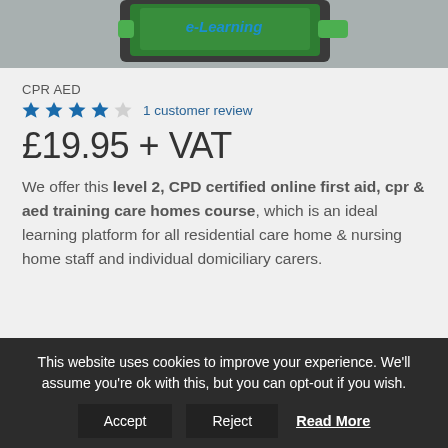[Figure (photo): Partial product image showing green training equipment with 'e-Learning' branding on grey background]
CPR AED
★★★★☆  1 customer review
£19.95 + VAT
We offer this level 2, CPD certified online first aid, cpr & aed training care homes course, which is an ideal learning platform for all residential care home & nursing home staff and individual domiciliary carers.
This website uses cookies to improve your experience. We'll assume you're ok with this, but you can opt-out if you wish. Accept  Reject  Read More